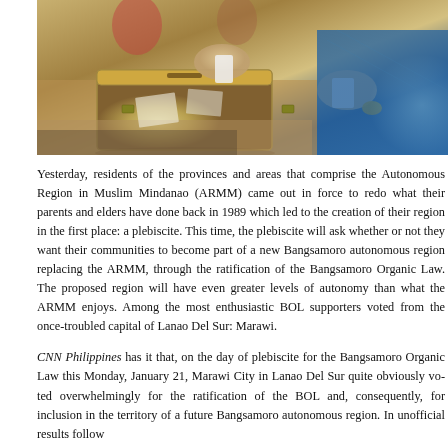[Figure (photo): Photo of people casting ballots at a polling station, with a metal ballot box visible in the foreground. Hands are shown inserting ballots. A woman in blue clothing with a gold watch is visible on the right.]
Yesterday, residents of the provinces and areas that comprise the Autonomous Region in Muslim Mindanao (ARMM) came out in force to redo what their parents and elders have done back in 1989 which led to the creation of their region in the first place: a plebiscite. This time, the plebiscite will ask whether or not they want their communities to become part of a new Bangsamoro autonomous region replacing the ARMM, through the ratification of the Bangsamoro Organic Law. The proposed region will have even greater levels of autonomy than what the ARMM enjoys. Among the most enthusiastic BOL supporters voted from the once-troubled capital of Lanao Del Sur: Marawi.
CNN Philippines has it that, on the day of plebiscite for the Bangsamoro Organic Law this Monday, January 21, Marawi City in Lanao Del Sur quite obviously voted overwhelmingly for the ratification of the BOL and, consequently, for inclusion in the territory of a future Bangsamoro autonomous region. In unofficial results follow